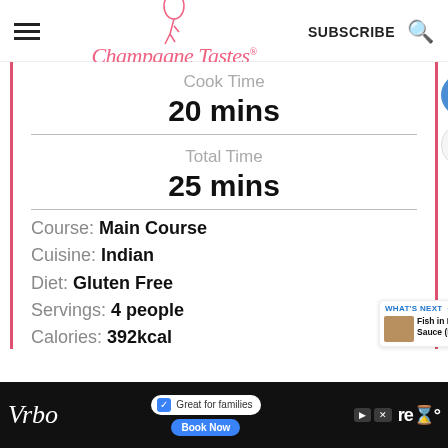Champagne Tastes — SUBSCRIBE
Cook Time
20 mins
Total Time
25 mins
Course: Main Course
Cuisine: Indian
Diet: Gluten Free
Servings: 4 people
Calories: 392kcal
[Figure (screenshot): Advertisement banner for Vrbo showing cyclists and 'Great for families' text with a Book Now button]